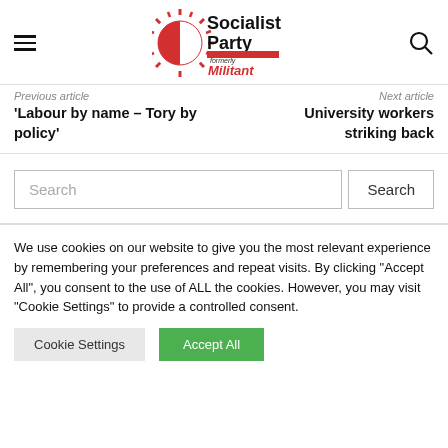[Figure (logo): Socialist Party (Formerly Militant) logo with red sun/star graphic and black bold text]
Previous article
Next article
'Labour by name – Tory by policy'
University workers striking back
Search
We use cookies on our website to give you the most relevant experience by remembering your preferences and repeat visits. By clicking "Accept All", you consent to the use of ALL the cookies. However, you may visit "Cookie Settings" to provide a controlled consent.
Cookie Settings
Accept All